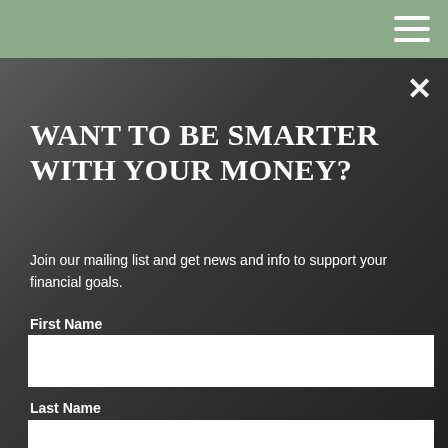[Figure (screenshot): Website header bar with sage green background color]
[Figure (photo): Dark background photo showing financial documents/tablet on a desk, used as modal overlay background]
WANT TO BE SMARTER WITH YOUR MONEY?
Join our mailing list and get news and info to support your financial goals.
First Name
Last Name